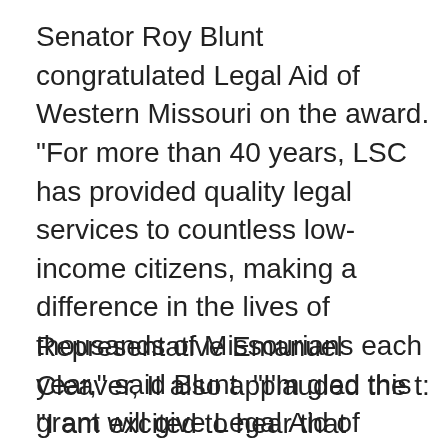Senator Roy Blunt congratulated Legal Aid of Western Missouri on the award. “For more than 40 years, LSC has provided quality legal services to countless low-income citizens, making a difference in the lives of thousands of Missourians each year,” said Blunt. “I’m glad this grant will give Legal Aid of Western Missouri additional resources to continue providing counsel to those who need it most.”
Representative Emanuel Cleaver, II also applauded the t: “I am excited to hear that thousands will be able to fit from the services and expertise of the Legal Aid estern Missouri. This grant will give Missourians the assistance they need when seeking an attorney or legal advice. Often, people who have become victims of unfair labor practices, discrimination or unjust situations do not